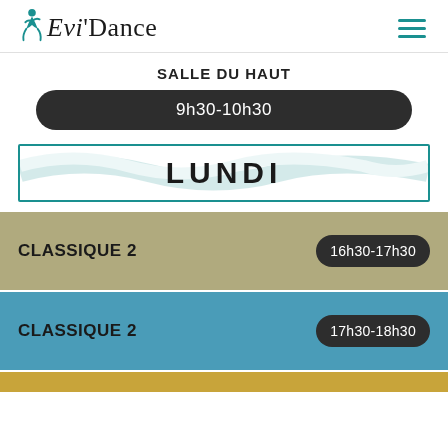Evi Dance
SALLE DU HAUT
9h30-10h30
LUNDI
CLASSIQUE 2   16h30-17h30
CLASSIQUE 2   17h30-18h30